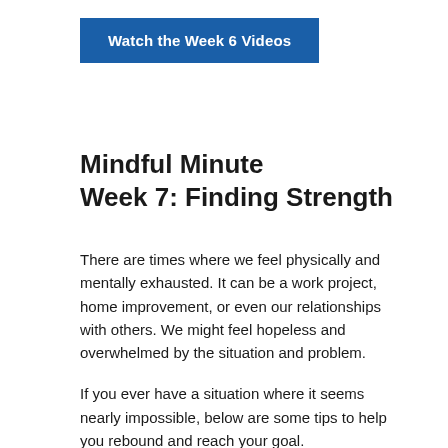[Figure (other): Blue button labelled 'Watch the Week 6 Videos']
Mindful Minute
Week 7: Finding Strength
There are times where we feel physically and mentally exhausted. It can be a work project, home improvement, or even our relationships with others. We might feel hopeless and overwhelmed by the situation and problem.
If you ever have a situation where it seems nearly impossible, below are some tips to help you rebound and reach your goal.